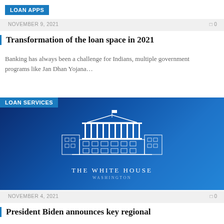LOAN APPS
NOVEMBER 9, 2021   0
Transformation of the loan space in 2021
Banking has always been a challenge for Indians, multiple government programs like Jan Dhan Yojana...
[Figure (illustration): White House illustration with text 'THE WHITE HOUSE WASHINGTON' on dark blue gradient background, with LOAN SERVICES badge overlay]
LOAN SERVICES
NOVEMBER 4, 2021   0
President Biden announces key regional